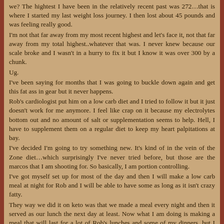we?  The hightest I have been in the relatively recent past was 272…that is where I started my last weight loss journey.  I then lost about 45 pounds and was feeling really good.
I'm not that far away from my most recent highest and let's face it, not that far away from my total highest..whatever that was.  I never knew because our scale broke and I wasn't in a hurry to fix it but I know it was over 300 by a chunk.
Ug.
I've been saying for months that I was going to buckle down again and get this fat ass in gear but it never happens.
Rob's cardiologist put him on a low carb diet and I tried to follow it but it just doesn't work for me anymore.  I feel like crap on it because my electrolytes bottom out and no amount of salt or supplementation seems to help.  Hell, I have to supplement them on a regular diet to keep my heart palpitations at bay.
I've decided I'm going to try something new.  It's kind of in the vein of the Zone diet…which surprisingly I've never tried before, but those are the marcos that I am shooting for.  So basically, I am portion controlling.
I've got myself set up for most of the day and then I will make a low carb meal at night for Rob and I will be able to have some as long as it isn't crazy fatty.
They way we did it on keto was that we made a meal every night and then it served as our lunch the next day at least.  Now what I am doing is making a meal that will last for a lot of Rob's lunches and some of my dinners, but I will be making my lunches and breakfasts separately.  Incorporating more fruits and non starchy veggies with lean meats and then using up my fat grams on the dinners that I make that will be low carb for him.
I have a lot to say…